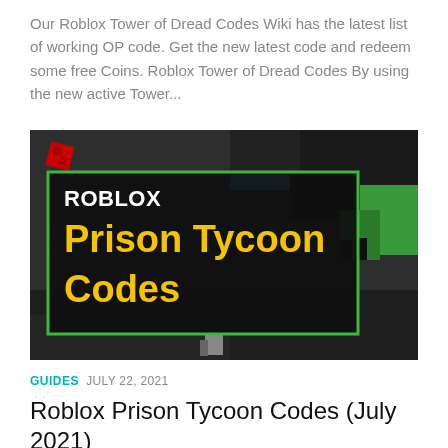Our Roblox Tower of Dread Codes Wiki has the latest list of working OP code. Get the new latest code and redeem some free Coins. Roblox Tower of Dread Codes By using the new active Tower...
[Figure (screenshot): Roblox Prison Tycoon Codes promotional image with dark background, green-bordered overlay box containing white 'ROBLOX' text and yellow 'Prison Tycoon Codes' text, with a small red Roblox logo square in the top-left corner]
GUIDES  JULY 22, 2021
Roblox Prison Tycoon Codes (July 2021)